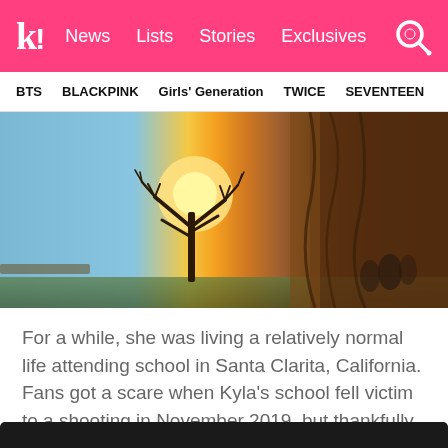k! News  Lists  Stories  Exclusives
BTS  BLACKPINK  Girls' Generation  TWICE  SEVENTEEN
[Figure (photo): Photo from a low angle showing a sunset sky with a bare tree silhouette, a bright sun, and long hair visible on the right side of the frame. People are visible in the background on the right.]
For a while, she was living a relatively normal life attending school in Santa Clarita, California. Fans got a scare when Kyla's school fell victim to a shooting in November 2019, but thankfully, Kyla escaped safely.
[Figure (screenshot): Bottom cropped dark/black bar — partial view of another image below.]